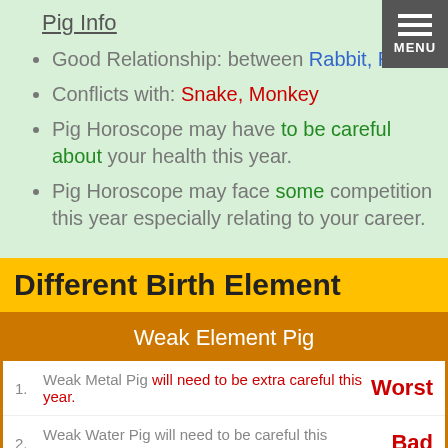Pig Info
Good Relationship: between Rabbit, Ram
Conflicts with: Snake, Monkey
Pig Horoscope may have to be careful about your health this year.
Pig Horoscope may face some competition this year especially relating to your career.
Different Birth Element
|  | Weak Element Pig |  |
| --- | --- | --- |
| 1. | Weak Metal Pig will need to be extra careful this year. | Worst |
| 2. | Weak Water Pig will need to be careful this year. | Bad |
| 3. | Weak Wood Pig will do pretty well this year. | Good |
| 4. | Weak Fire Pig will do exceptionally well this year. | Best |
| 5. | Weak Earth Pig will need to be extra careful this year. | Worst |